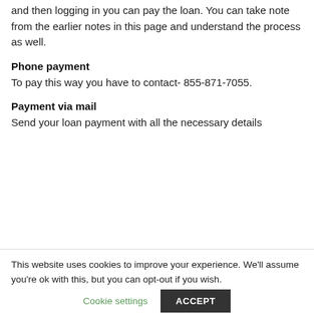and then logging in you can pay the loan. You can take note from the earlier notes in this page and understand the process as well.
Phone payment
To pay this way you have to contact- 855-871-7055.
Payment via mail
Send your loan payment with all the necessary details
This website uses cookies to improve your experience. We'll assume you're ok with this, but you can opt-out if you wish.
Cookie settings
ACCEPT